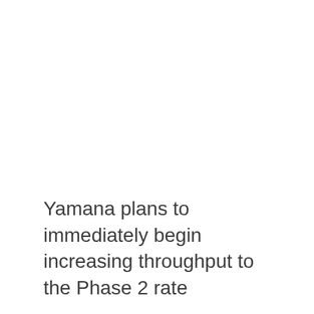Yamana plans to immediately begin increasing throughput to the Phase 2 rate